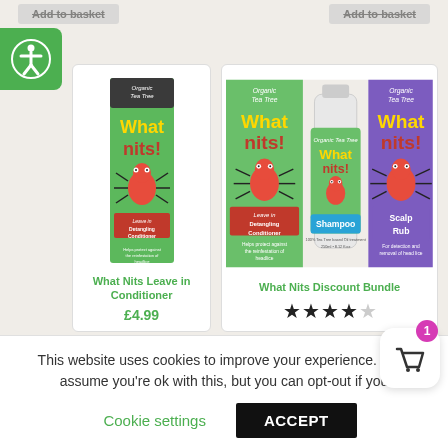[Figure (screenshot): Two 'Add to Basket' buttons at the top, partially visible, greyed out]
[Figure (logo): Green accessibility icon button on left side]
[Figure (photo): What Nits Leave in Conditioner product box with red ant mascot]
What Nits Leave in Conditioner
£4.99
[Figure (photo): What Nits Discount Bundle showing three products: Leave in Detangling Conditioner, Shampoo, and Scalp Rub]
What Nits Discount Bundle
★★★★☆ (4 stars out of 5)
This website uses cookies to improve your experience. We'll assume you're ok with this, but you can opt-out if you
Cookie settings
ACCEPT